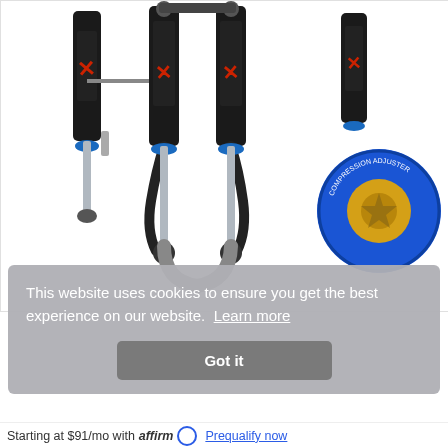[Figure (photo): Fox Racing Shox / suspension shock absorbers product photo showing multiple shocks and a blue/gold compression adjuster knob against white background]
This website uses cookies to ensure you get the best experience on our website. Learn more
Got it
Starting at $91/mo with affirm Prequalify now